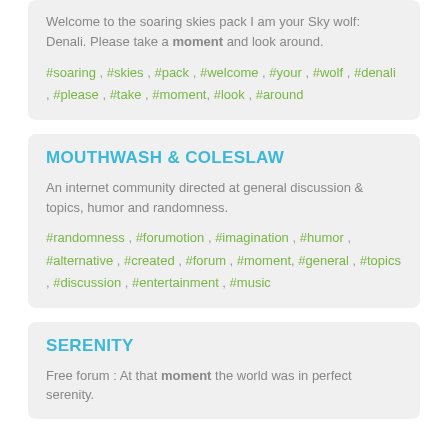Welcome to the soaring skies pack I am your Sky wolf: Denali. Please take a moment and look around.
#soaring , #skies , #pack , #welcome , #your , #wolf , #denali , #please , #take , #moment, #look , #around
MOUTHWASH & COLESLAW
An internet community directed at general discussion & topics, humor and randomness.
#randomness , #forumotion , #imagination , #humor , #alternative , #created , #forum , #moment, #general , #topics , #discussion , #entertainment , #music
SERENITY
Free forum : At that moment the world was in perfect serenity.